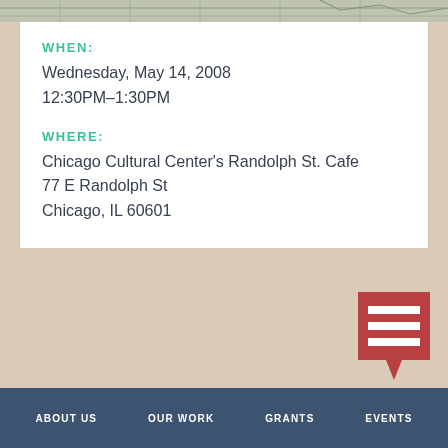[Figure (map): Top strip showing a partial map background in muted grey-green tones]
WHEN:
Wednesday, May 14, 2008
12:30PM–1:30PM
WHERE:
Chicago Cultural Center's Randolph St. Cafe
77 E Randolph St
Chicago, IL 60601
[Figure (logo): Red square logo with three white horizontal lines (H icon) and a downward-pointing red speech bubble tail]
ABOUT US   OUR WORK   GRANTS   EVENTS